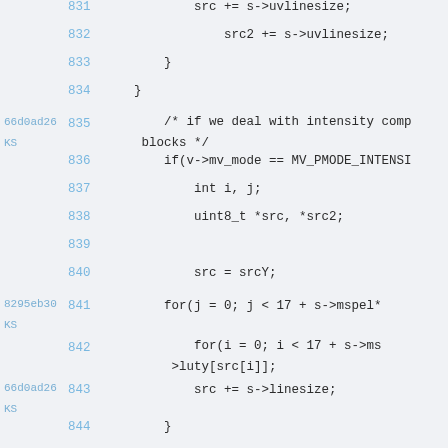831    src += s->uvlinesize;
832    src2 += s->uvlinesize;
833    }
834  }
66d0ad26 KS  835  /* if we deal with intensity comp blocks */
836  if(v->mv_mode == MV_PMODE_INTENSI
837      int i, j;
838      uint8_t *src, *src2;
839
840      src = srcY;
8295eb30 KS  841  for(j = 0; j < 17 + s->mspel*
842      for(i = 0; i < 17 + s->ms >luty[src[i]];
66d0ad26 KS  843  src += s->linesize;
844  }